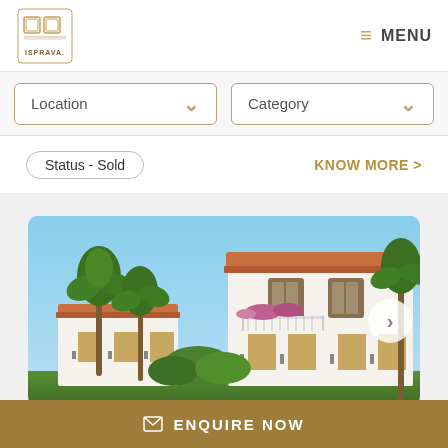[Figure (logo): Isprava luxury real estate logo - decorative square emblem with ISPRAVA text]
≡ MENU
Location ∨
Category ∨
Status - Sold
KNOW MORE >
[Figure (photo): Luxury white villa with red-tile roof, arched windows, balcony with flowering plants, surrounded by tropical palm trees and lush greenery under blue sky]
ENQUIRE NOW